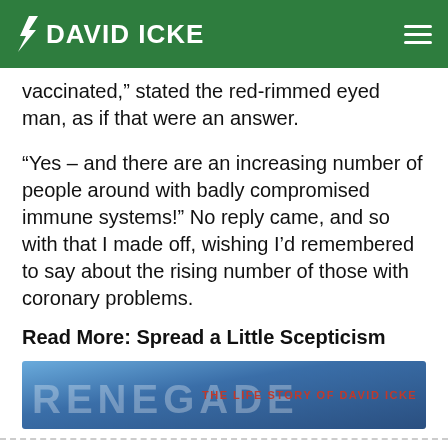DAVID ICKE
vaccinated,” stated the red-rimmed eyed man, as if that were an answer.
“Yes – and there are an increasing number of people around with badly compromised immune systems!” No reply came, and so with that I made off, wishing I’d remembered to say about the rising number of those with coronary problems.
Read More: Spread a Little Scepticism
[Figure (illustration): Banner image showing the text RENEGADE THE LIFE STORY OF DAVID ICKE with blue background]